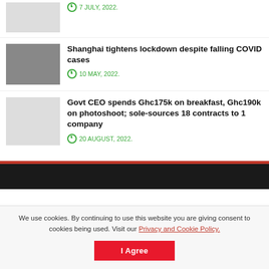[Figure (photo): Partial view of a thumbnail image placeholder at top]
7 JULY, 2022.
[Figure (photo): Photo of people in crowd, Shanghai lockdown]
Shanghai tightens lockdown despite falling COVID cases
10 MAY, 2022.
[Figure (photo): Blank/grey image placeholder]
Govt CEO spends Ghc175k on breakfast, Ghc190k on photoshoot; sole-sources 18 contracts to 1 company
20 AUGUST, 2022.
We use cookies. By continuing to use this website you are giving consent to cookies being used. Visit our Privacy and Cookie Policy.
I Agree